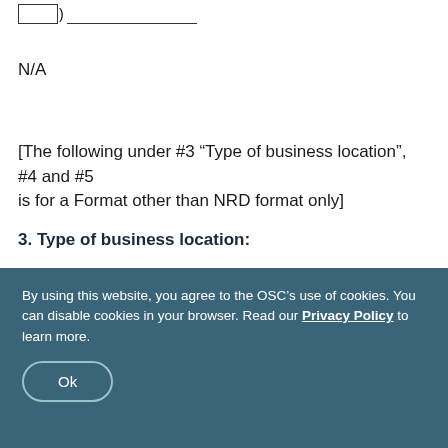( ) _____
N/A
[The following under #3 “Type of business location”, #4 and #5 is for a Format other than NRD format only]
3. Type of business location:
By using this website, you agree to the OSC’s use of cookies. You can disable cookies in your browser. Read our Privacy Policy to learn more.
Ok